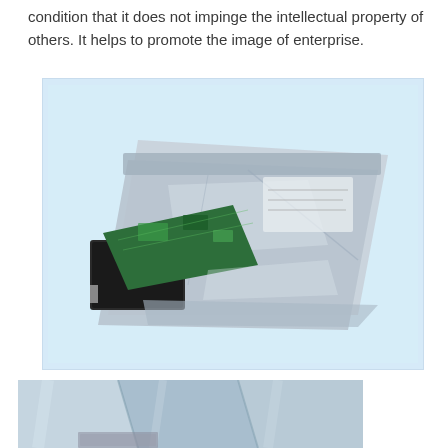condition that it does not impinge the intellectual property of others. It helps to promote the image of enterprise.
[Figure (photo): Anti-static shielding bag containing a hard drive and circuit board, shown on a light blue background]
[Figure (photo): Close-up view of anti-static shielding bags showing metallic silver-blue surface texture]